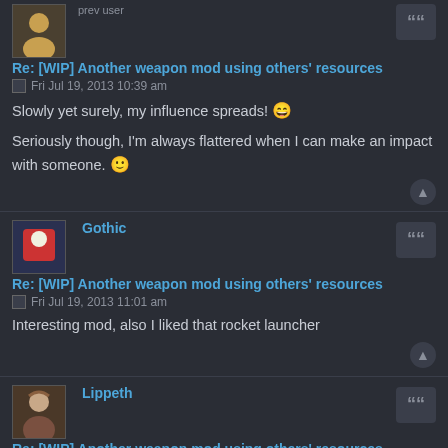Re: [WIP] Another weapon mod using others' resources
Fri Jul 19, 2013 10:39 am
Slowly yet surely, my influence spreads! 😆
Seriously though, I'm always flattered when I can make an impact with someone. 😀
Gothic
Re: [WIP] Another weapon mod using others' resources
Fri Jul 19, 2013 11:01 am
Interesting mod, also I liked that rocket launcher
Lippeth
Re: [WIP] Another weapon mod using others' resources
Fri Jul 19, 2013 4:39 pm